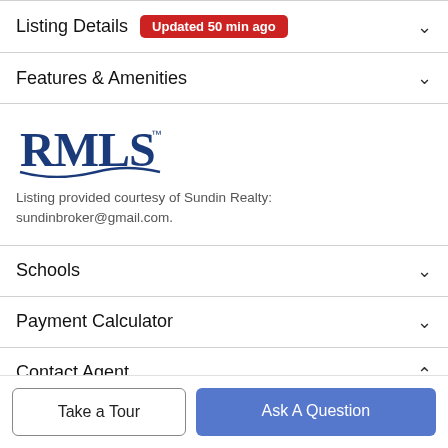Listing Details Updated 50 min ago
Features & Amenities
[Figure (logo): RMLS logo in dark blue]
Listing provided courtesy of Sundin Realty: sundinbroker@gmail.com.
Schools
Payment Calculator
Contact Agent
Take a Tour
Ask A Question